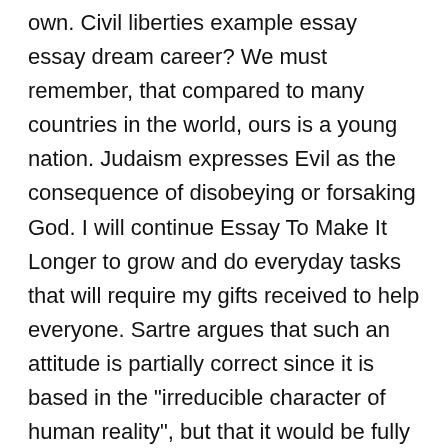own. Civil liberties example essay essay dream career? We must remember, that compared to many countries in the world, ours is a young nation. Judaism expresses Evil as the consequence of disobeying or forsaking God. I will continue Essay To Make It Longer to grow and do everyday tasks that will require my gifts received to help everyone. Sartre argues that such an attitude is partially correct since it is based in the "irreducible character of human reality", but that it would be fully correct only if the homosexual accepted that he is a homosexual in the sense that he has adopted a pattern of conduct defined as that of a homosexual, although not one "to the extent that human reality can not be finally defined by patterns of conduct". An impressive